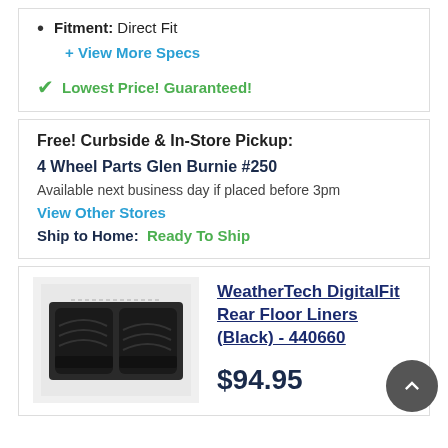Fitment: Direct Fit
+ View More Specs
✓ Lowest Price! Guaranteed!
Free! Curbside & In-Store Pickup:
4 Wheel Parts Glen Burnie #250
Available next business day if placed before 3pm
View Other Stores
Ship to Home:  Ready To Ship
[Figure (photo): WeatherTech DigitalFit Rear Floor Liners in black, shown from above]
WeatherTech DigitalFit Rear Floor Liners (Black) - 440660
$94.95